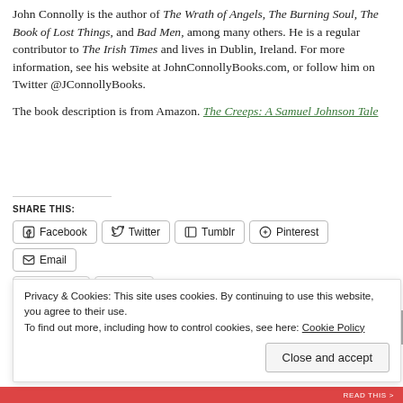John Connolly is the author of The Wrath of Angels, The Burning Soul, The Book of Lost Things, and Bad Men, among many others. He is a regular contributor to The Irish Times and lives in Dublin, Ireland. For more information, see his website at JohnConnollyBooks.com, or follow him on Twitter @JConnollyBooks.
The book description is from Amazon. The Creeps: A Samuel Johnson Tale
SHARE THIS:
[Figure (screenshot): Share buttons row: Facebook, Twitter, Tumblr, Pinterest, Email]
Privacy & Cookies: This site uses cookies. By continuing to use this website, you agree to their use. To find out more, including how to control cookies, see here: Cookie Policy
Close and accept